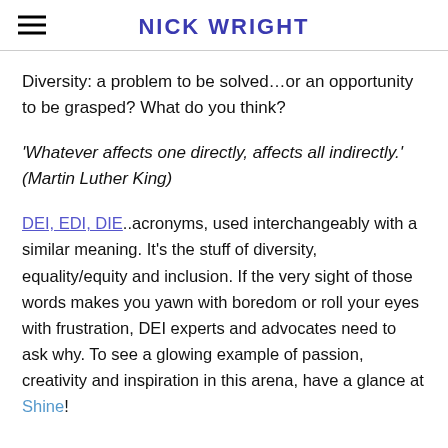NICK WRIGHT
Diversity: a problem to be solved…or an opportunity to be grasped? What do you think?
'Whatever affects one directly, affects all indirectly.' (Martin Luther King)
DEI, EDI, DIE..acronyms, used interchangeably with a similar meaning. It's the stuff of diversity, equality/equity and inclusion. If the very sight of those words makes you yawn with boredom or roll your eyes with frustration, DEI experts and advocates need to ask why. To see a glowing example of passion, creativity and inspiration in this arena, have a glance at Shine!